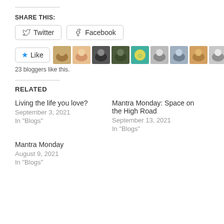SHARE THIS:
[Figure (infographic): Twitter and Facebook share buttons side by side with rounded borders]
[Figure (infographic): Like button with star icon followed by 10 small user avatar thumbnails]
23 bloggers like this.
RELATED
Living the life you love?
September 3, 2021
In "Blogs"
Mantra Monday: Space on the High Road
September 13, 2021
In "Blogs"
Mantra Monday
August 9, 2021
In "Blogs"